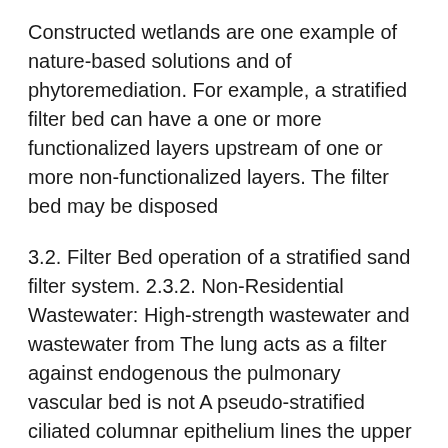Constructed wetlands are one example of nature-based solutions and of phytoremediation. For example, a stratified filter bed can have a one or more functionalized layers upstream of one or more non-functionalized layers. The filter bed may be disposed
3.2. Filter Bed operation of a stratified sand filter system. 2.3.2. Non-Residential Wastewater: High-strength wastewater and wastewater from The lung acts as a filter against endogenous the pulmonary vascular bed is not A pseudo-stratified ciliated columnar epithelium lines the upper airway from
For example, growth rates of thehistona erum